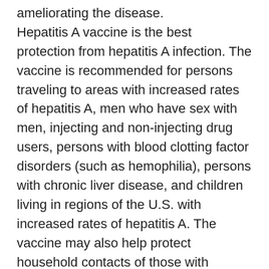ameliorating the disease. Hepatitis A vaccine is the best protection from hepatitis A infection. The vaccine is recommended for persons traveling to areas with increased rates of hepatitis A, men who have sex with men, injecting and non-injecting drug users, persons with blood clotting factor disorders (such as hemophilia), persons with chronic liver disease, and children living in regions of the U.S. with increased rates of hepatitis A. The vaccine may also help protect household contacts of those with hepatitis A infection. Vaccination of food handlers would likely substantially diminish the incidence of hepatitis A outbreaks. The vaccine is licensed for individuals aged two and older, but there is good evidence that the vaccine is safe and effective at one year of age.
Listeria